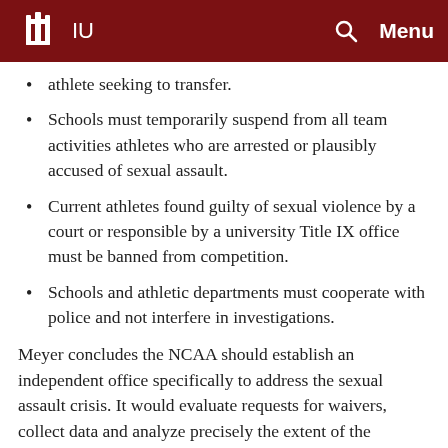IU | Menu
athlete seeking to transfer.
Schools must temporarily suspend from all team activities athletes who are arrested or plausibly accused of sexual assault.
Current athletes found guilty of sexual violence by a court or responsible by a university Title IX office must be banned from competition.
Schools and athletic departments must cooperate with police and not interfere in investigations.
Meyer concludes the NCAA should establish an independent office specifically to address the sexual assault crisis. It would evaluate requests for waivers, collect data and analyze precisely the extent of the problem. The office also would be charged with